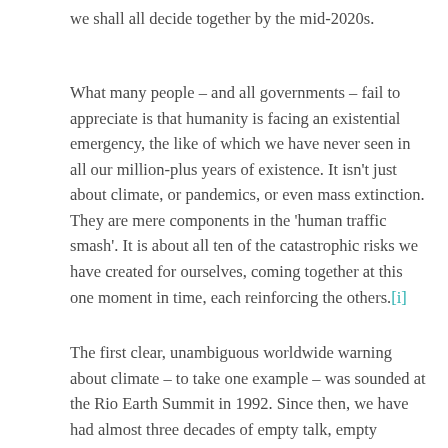we shall all decide together by the mid-2020s.
What many people – and all governments – fail to appreciate is that humanity is facing an existential emergency, the like of which we have never seen in all our million-plus years of existence. It isn't just about climate, or pandemics, or even mass extinction. They are mere components in the 'human traffic smash'. It is about all ten of the catastrophic risks we have created for ourselves, coming together at this one moment in time, each reinforcing the others.[i]
The first clear, unambiguous worldwide warning about climate – to take one example – was sounded at the Rio Earth Summit in 1992. Since then, we have had almost three decades of empty talk, empty promises and inaction – and we are still just kicking the can down the